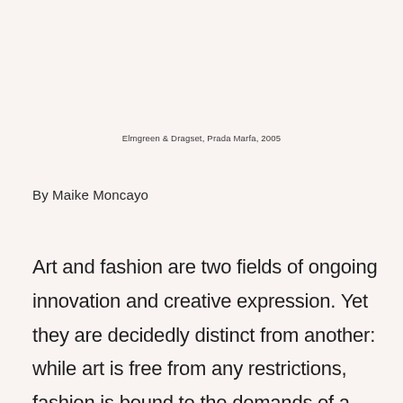Elmgreen & Dragset, Prada Marfa, 2005
By Maike Moncayo
Art and fashion are two fields of ongoing innovation and creative expression. Yet they are decidedly distinct from another: while art is free from any restrictions, fashion is bound to the demands of a fast-paced industry. Naturally,